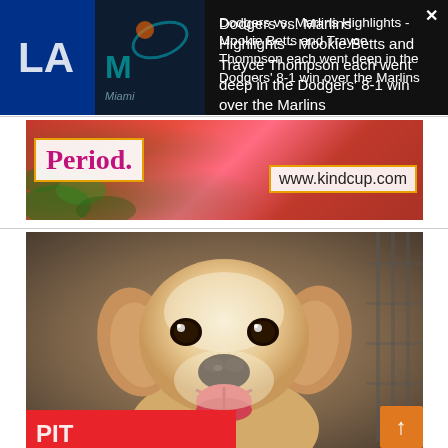[Figure (screenshot): Video thumbnail showing Dodgers vs Marlins logos on dark background, with a close (x) button in top right]
Dodgers vs. Marlins Highlights - Mookie Betts and Trayce Thompson each went deep in the Dodgers' 8-1 win over the Marlins
[Figure (photo): Advertisement banner with pink/red flowers background. Shows text 'Period.' in pink on white box with orange border, and 'www.kindcup.com' in a white box with orange border.]
[Figure (photo): Close-up photo of a golden retriever puppy looking directly at camera with mouth open and tongue visible, happy expression. Red strip at bottom left with white text partially visible, orange scroll-up button at bottom right.]